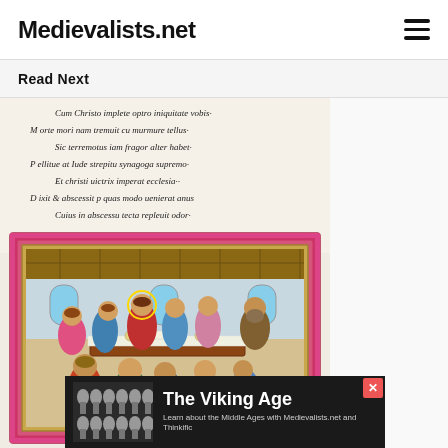Medievalists.net
Read Next
[Figure (illustration): Medieval manuscript page showing Latin verse text at top, followed by an illuminated miniature depicting the Last Supper scene. Figures seated around a table in a room with wooden ceiling, painted in colors including pink, blue, green and red, surrounded by a decorative pink/red border.]
[Figure (other): Advertisement banner for 'The Viking Age' by Medievalists.net and Thinkific, featuring dark background with text and decorative imagery of Viking-era objects.]